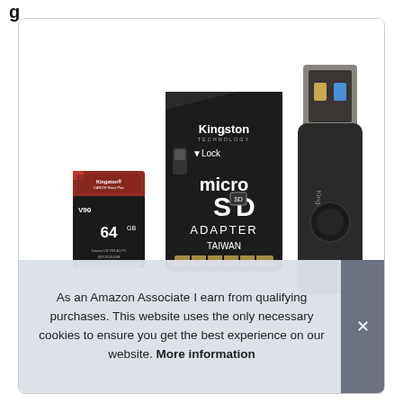[Figure (photo): Kingston Canvas React Plus 64GB microSD card with a Kingston microSD adapter (black card with 'Kingston TECHNOLOGY', 'Lock', 'micro SD', 'ADAPTER', 'TAIWAN' text) and a Kingston MobileLite Plus USB card reader, shown together on a white background.]
As an Amazon Associate I earn from qualifying purchases. This website uses the only necessary cookies to ensure you get the best experience on our website. More information